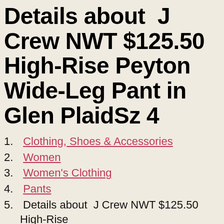Details about  J Crew NWT $125.50 High-Rise Peyton Wide-Leg Pant in Glen PlaidSz 4
1. Clothing, Shoes & Accessories
2. Women
3. Women's Clothing
4. Pants
5. Details about  J Crew NWT $125.50 High-Rise Peyton Wide-Leg Pant in Glen PlaidSz 4